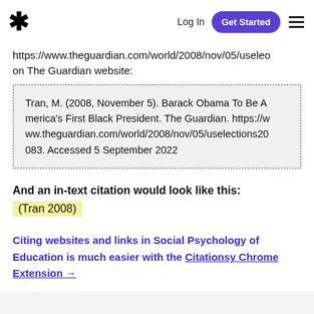* Log In  Get Started  ☰
https://www.theguardian.com/world/2008/nov/05/useleo on The Guardian website:
Tran, M. (2008, November 5). Barack Obama To Be America's First Black President. The Guardian. https://www.theguardian.com/world/2008/nov/05/uselections20083. Accessed 5 September 2022
And an in-text citation would look like this:
(Tran 2008)
Citing websites and links in Social Psychology of Education is much easier with the Citationsy Chrome Extension →